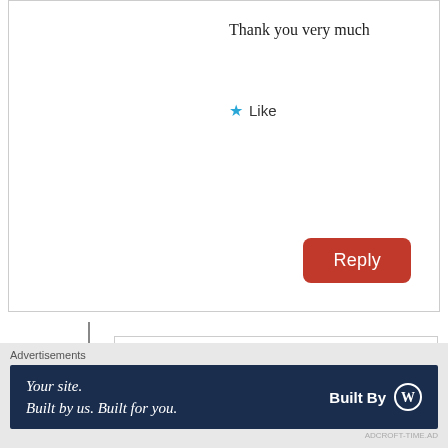Thank you very much
Like
Reply
GatNor
May 15, 2015 at 6:11 pm
SPLA just been defeated in Jonglei so can you please shut the hell up now.
Like
Advertisements
Your site.
Built by us. Built for you.
Built By